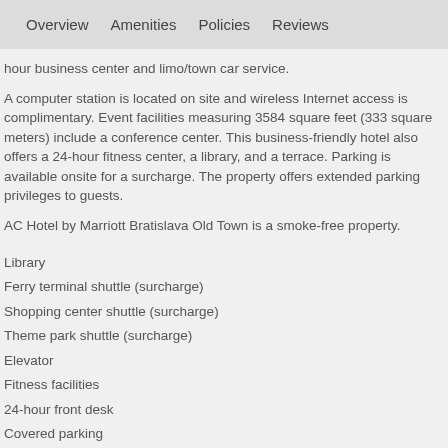Overview   Amenities   Policies   Reviews
hour business center and limo/town car service.
A computer station is located on site and wireless Internet access is complimentary. Event facilities measuring 3584 square feet (333 square meters) include a conference center. This business-friendly hotel also offers a 24-hour fitness center, a library, and a terrace. Parking is available onsite for a surcharge. The property offers extended parking privileges to guests.
AC Hotel by Marriott Bratislava Old Town is a smoke-free property.
Library
Ferry terminal shuttle (surcharge)
Shopping center shuttle (surcharge)
Theme park shuttle (surcharge)
Elevator
Fitness facilities
24-hour front desk
Covered parking
Business center